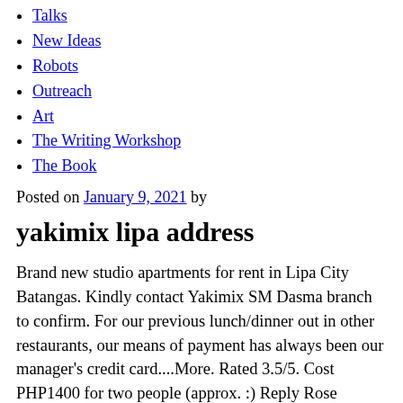Talks
New Ideas
Robots
Outreach
Art
The Writing Workshop
The Book
Posted on January 9, 2021 by
yakimix lipa address
Brand new studio apartments for rent in Lipa City Batangas. Kindly contact Yakimix SM Dasma branch to confirm. For our previous lunch/dinner out in other restaurants, our means of payment has always been our manager's credit card....More. Rated 3.5/5. Cost PHP1400 for two people (approx. :) Reply Rose Gonzaga. All There aren't enough food, service, value or atmosphere ratings for Yakimix, Philippines yet. Contact agent for price 3 Food was okay. July 9, 2018. Oriental. August 19, 2018. By using this site you agree to Zomato's use of cookies to give you a personalised experience. The numbers you gave are both wrong numbers. Hotels near (MNL) Ninoy Aquino Intl Airport. Birthday celebrant can avail the Birthday Promo for 1 whole month as long as it .... Does this restaurant offer table service? Ask ko lang po if